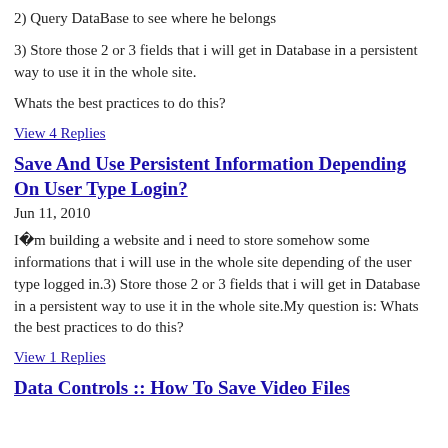2) Query DataBase to see where he belongs
3) Store those 2 or 3 fields that i will get in Database in a persistent way to use it in the whole site.
Whats the best practices to do this?
View 4 Replies
Save And Use Persistent Information Depending On User Type Login?
Jun 11, 2010
I�m building a website and i need to store somehow some informations that i will use in the whole site depending of the user type logged in.3) Store those 2 or 3 fields that i will get in Database in a persistent way to use it in the whole site.My question is: Whats the best practices to do this?
View 1 Replies
Data Controls :: How To Save Video Files